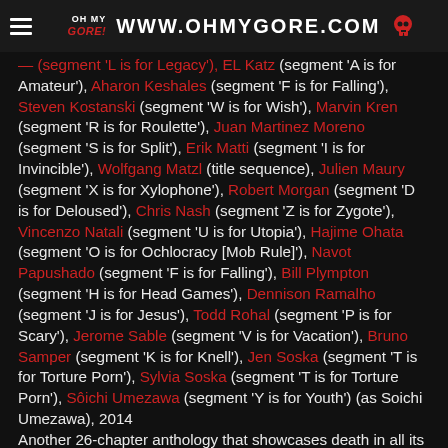WWW.OHMYGORE.COM
EL Katz (segment 'A is for Amateur'), Aharon Keshales (segment 'F is for Falling'), Steven Kostanski (segment 'W is for Wish'), Marvin Kren (segment 'R is for Roulette'), Juan Martinez Moreno (segment 'S is for Split'), Erik Matti (segment 'I is for Invincible'), Wolfgang Matzl (title sequence), Julien Maury (segment 'X is for Xylophone'), Robert Morgan (segment 'D is for Deloused'), Chris Nash (segment 'Z is for Zygote'), Vincenzo Natali (segment 'U is for Utopia'), Hajime Ohata (segment 'O is for Ochlocracy [Mob Rule]'), Navot Papushado (segment 'F is for Falling'), Bill Plympton (segment 'H is for Head Games'), Dennison Ramalho (segment 'J is for Jesus'), Todd Rohal (segment 'P is for Scary'), Jerome Sable (segment 'V is for Vacation'), Bruno Samper (segment 'K is for Knell'), Jen Soska (segment 'T is for Torture Porn'), Sylvia Soska (segment 'T is for Torture Porn'), Sôichi Umezawa (segment 'Y is for Youth') (as Soichi Umezawa), 2014
Another 26-chapter anthology that showcases death in all its vicious wonder